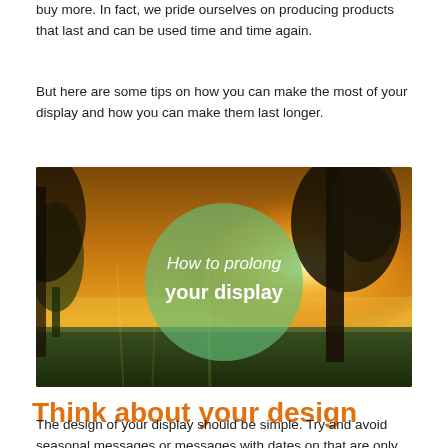buy more. In fact, we pride ourselves on producing products that last and can be used time and time again.
But here are some tips on how you can make the most of your display and how you can make them last longer.
[Figure (photo): Landscape photo of trees and golden sunrise/sunset light with a green semi-transparent circle overlay containing italic text 'How to prolong' and bold text 'your display']
Think about your design
The design of your display should be simple. Try and avoid seasonal messages or messages with dates on that are only going to last a few weeks or months. Use the display to sign post to your